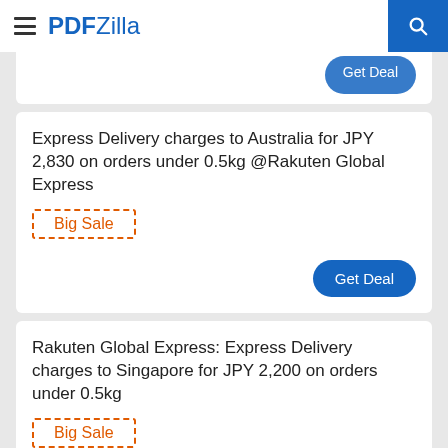PDFZilla
Express Delivery charges to Australia for JPY 2,830 on orders under 0.5kg @Rakuten Global Express — Big Sale — Get Deal
Rakuten Global Express: Express Delivery charges to Singapore for JPY 2,200 on orders under 0.5kg — Big Sale — Get Deal
Express Delivery charges to United Kingdom for JPY ...